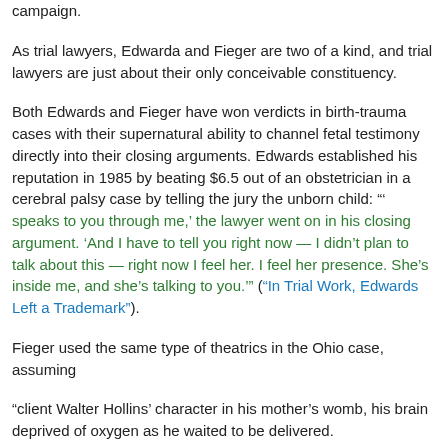campaign.
As trial lawyers, Edwarda and Fieger are two of a kind, and trial lawyers are just about their only conceivable constituency.
Both Edwards and Fieger have won verdicts in birth-trauma cases with their supernatural ability to channel fetal testimony directly into their closing arguments. Edwards established his reputation in 1985 by beating $6.5 out of an obstetrician in a cerebral palsy case by telling the jury the unborn child: “‘ speaks to you through me,’ the lawyer went on in his closing argument. ‘And I have to tell you right now — I didn’t plan to talk about this — right now I feel her. I feel her presence. She’s inside me, and she’s talking to you.’” (“In Trial Work, Edwards Left a Trademark”).
Fieger used the same type of theatrics in the Ohio case, assuming
“client Walter Hollins’ character in his mother’s womb, his brain deprived of oxygen as he waited to be delivered.